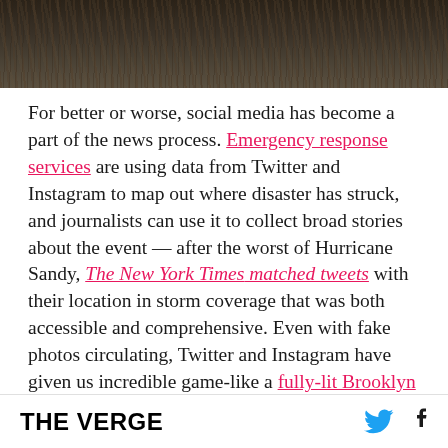[Figure (photo): Dark textured bark or wood surface, close-up photo at top of page]
For better or worse, social media has become a part of the news process. Emergency response services are using data from Twitter and Instagram to map out where disaster has struck, and journalists can use it to collect broad stories about the event — after the worst of Hurricane Sandy, The New York Times matched tweets with their location in storm coverage that was both accessible and comprehensive. Even with fake photos circulating, Twitter and Instagram have given us incredible game-like a fully-lit Brooklyn carousel surrounded
THE VERGE